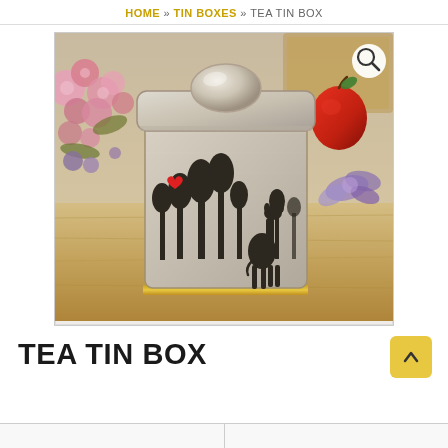HOME » TIN BOXES » TEA TIN BOX
[Figure (photo): Product photo of a tea tin box with a dome lid, decorated with trees and giraffe silhouette art, a red heart, photographed on a wooden surface with pink flowers on the left and a red apple on the right. A magnifying glass search icon appears in the top-right corner of the image.]
TEA TIN BOX
|  |  |